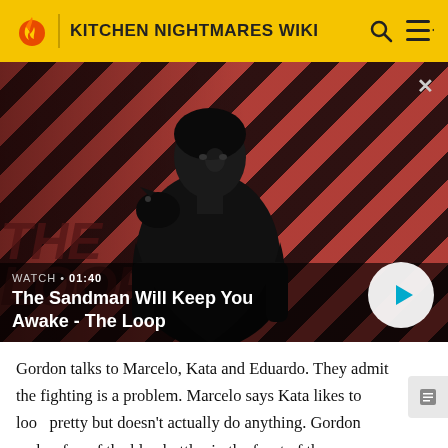KITCHEN NIGHTMARES WIKI
[Figure (screenshot): Video thumbnail showing a dark figure with a raven on their shoulder against a red and black diagonal striped background, with 'THE LOOP' text in background. Watch duration 01:40. Title: The Sandman Will Keep You Awake - The Loop.]
Gordon talks to Marcelo, Kata and Eduardo. They admit the fighting is a problem. Marcelo says Kata likes to look pretty but doesn't actually do anything. Gordon makes fun of the blue bottles in the front of the restaurant. Marcelo is expediting and struggles to communicate. They run into